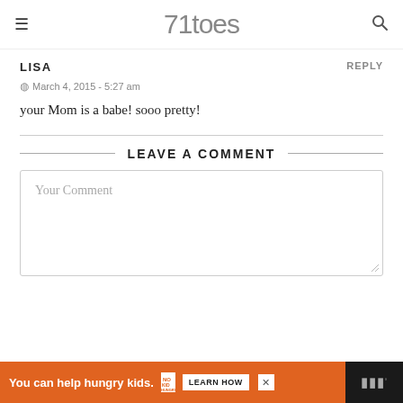71toes
LISA
REPLY
March 4, 2015 - 5:27 am
your Mom is a babe! sooo pretty!
LEAVE A COMMENT
Your Comment